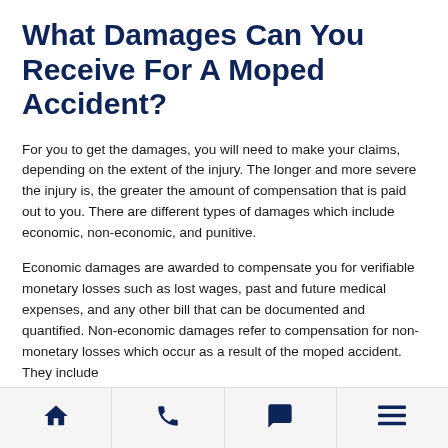What Damages Can You Receive For A Moped Accident?
For you to get the damages, you will need to make your claims, depending on the extent of the injury. The longer and more severe the injury is, the greater the amount of compensation that is paid out to you. There are different types of damages which include economic, non-economic, and punitive.
Economic damages are awarded to compensate you for verifiable monetary losses such as lost wages, past and future medical expenses, and any other bill that can be documented and quantified. Non-economic damages refer to compensation for non-monetary losses which occur as a result of the moped accident. They include
Home | Phone | Chat | Menu